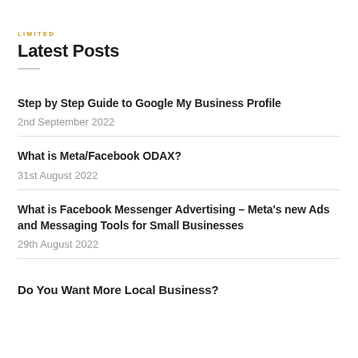LIMITED
Latest Posts
Step by Step Guide to Google My Business Profile
2nd September 2022
What is Meta/Facebook ODAX?
31st August 2022
What is Facebook Messenger Advertising – Meta's new Ads and Messaging Tools for Small Businesses
29th August 2022
Do You Want More Local Business?